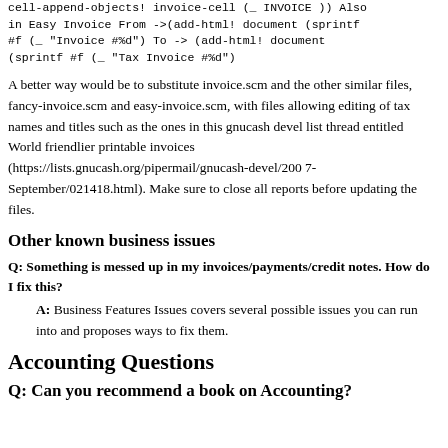cell-append-objects! invoice-cell (_ INVOICE )) Also in Easy Invoice From ->(add-html! document (sprintf #f (_ "Invoice #%d") To -> (add-html! document (sprintf #f (_ "Tax Invoice #%d")
A better way would be to substitute invoice.scm and the other similar files, fancy-invoice.scm and easy-invoice.scm, with files allowing editing of tax names and titles such as the ones in this gnucash devel list thread entitled World friendlier printable invoices (https://lists.gnucash.org/pipermail/gnucash-devel/2007-September/021418.html). Make sure to close all reports before updating the files.
Other known business issues
Q: Something is messed up in my invoices/payments/credit notes. How do I fix this?
A: Business Features Issues covers several possible issues you can run into and proposes ways to fix them.
Accounting Questions
Q: Can you recommend a book on Accounting?